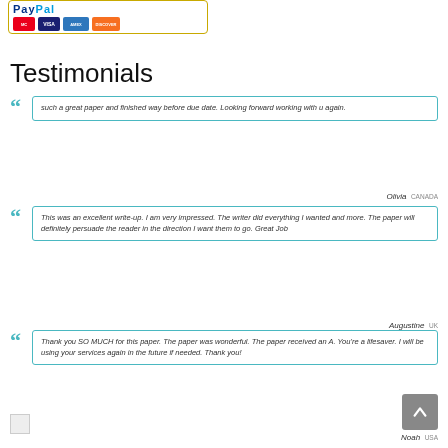[Figure (logo): PayPal logo with payment card icons (MasterCard, Visa, American Express, Discover) in a bordered box]
Testimonials
such a great paper and finished way before due date. Looking forward working with u again.
Olivia Canada
This was an excellent write-up. I am very impressed. The writer did everything I wanted and more. The paper will definitely persuade the reader in the direction I want them to go. Great Job
Augustine UK
Thank you SO MUCH for this paper. The paper was wonderful. The paper received an A. You're a lifesaver. I will be using your services again in the future if needed. Thank you!
Noah USA